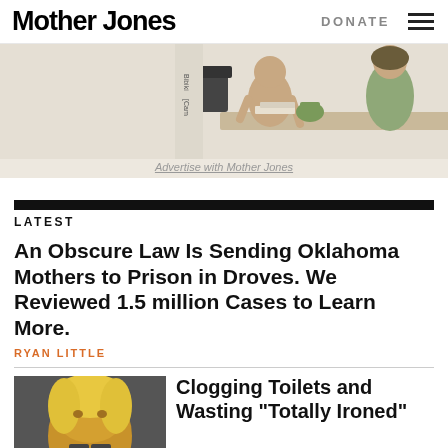Mother Jones | DONATE
[Figure (illustration): Cartoon illustration showing people at a table, partially cropped. Logo/watermark reading 'Bibiki Cam' visible on left side. Figures appear to be in a caricature/editorial cartoon style.]
Advertise with Mother Jones
LATEST
An Obscure Law Is Sending Oklahoma Mothers to Prison in Droves. We Reviewed 1.5 million Cases to Learn More.
RYAN LITTLE
[Figure (photo): Partial photo of a person's face with blonde/light hair, cropped at bottom of page.]
Clogging Toilets and Wasting "Totally Ironed"